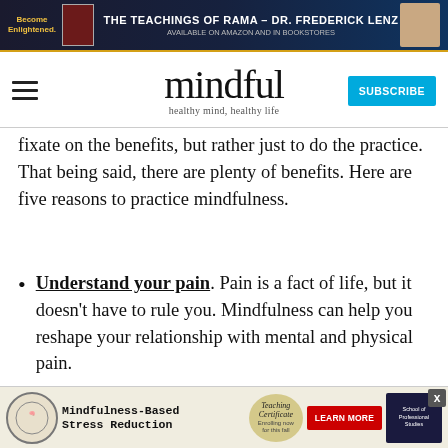[Figure (photo): Advertisement banner for 'The Teachings of Rama – Dr. Frederick Lenz' with book cover and author photo]
mindful – healthy mind, healthy life – with hamburger menu and SUBSCRIBE button
fixate on the benefits, but rather just to do the practice. That being said, there are plenty of benefits. Here are five reasons to practice mindfulness.
Understand your pain. Pain is a fact of life, but it doesn't have to rule you. Mindfulness can help you reshape your relationship with mental and physical pain.
Connect better. Ever find yourself staring blankly at a friend, lover, child, and you've no
[Figure (photo): Advertisement for Mindfulness-Based Stress Reduction Teaching Certificate program – Enrolling now for this fall, with Learn More button and School of Professional Studies logo]